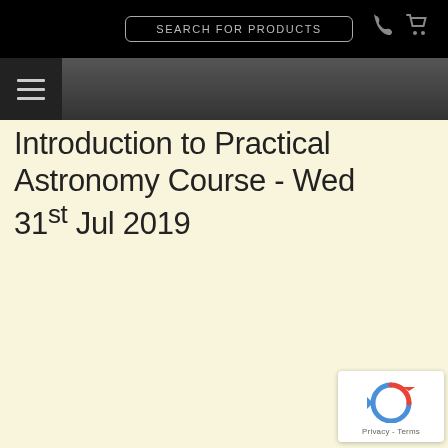SEARCH FOR PRODUCTS
Introduction to Practical Astronomy Course - Wed 31st Jul 2019
[Figure (logo): Google reCAPTCHA badge with blue/red arrow icon and Privacy - Terms text]